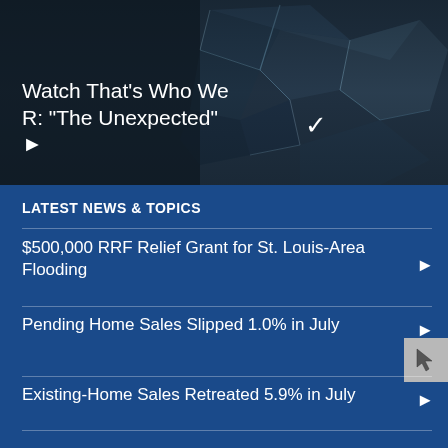[Figure (photo): Shattered glass or broken windshield close-up photo with dark overlay, used as hero banner image]
Watch That's Who We R: "The Unexpected" ▶
LATEST NEWS & TOPICS
$500,000 RRF Relief Grant for St. Louis-Area Flooding
Pending Home Sales Slipped 1.0% in July
Existing-Home Sales Retreated 5.9% in July